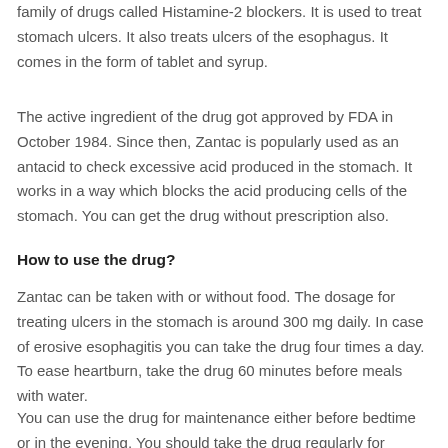family of drugs called Histamine-2 blockers. It is used to treat stomach ulcers. It also treats ulcers of the esophagus. It comes in the form of tablet and syrup.
The active ingredient of the drug got approved by FDA in October 1984. Since then, Zantac is popularly used as an antacid to check excessive acid produced in the stomach. It works in a way which blocks the acid producing cells of the stomach. You can get the drug without prescription also.
How to use the drug?
Zantac can be taken with or without food. The dosage for treating ulcers in the stomach is around 300 mg daily. In case of erosive esophagitis you can take the drug four times a day. To ease heartburn, take the drug 60 minutes before meals with water.
You can use the drug for maintenance either before bedtime or in the evening. You should take the drug regularly for maximum benefit. Do